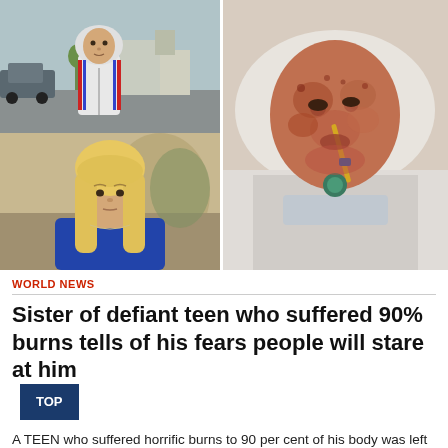[Figure (photo): Composite of three photos: top-left shows a teenage boy in a white hoodie outdoors; bottom-left shows a blonde teenage girl indoors; right shows a severely burned person lying in a hospital bed with a nasal tube.]
WORLD NEWS
Sister of defiant teen who suffered 90% burns tells of his fears people will stare at him
A TEEN who suffered horrific burns to 90 per cent of his body was left worried people would make fun of him over the